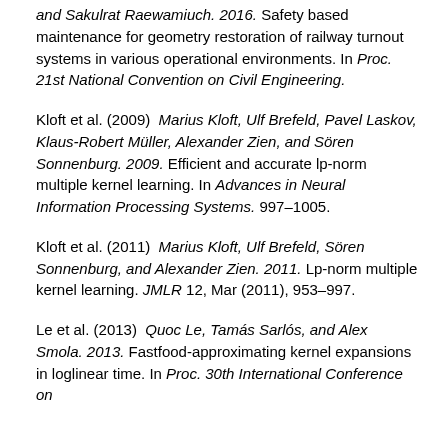and Sakulrat Raewamiuch. 2016. Safety based maintenance for geometry restoration of railway turnout systems in various operational environments. In Proc. 21st National Convention on Civil Engineering.
Kloft et al. (2009) Marius Kloft, Ulf Brefeld, Pavel Laskov, Klaus-Robert Müller, Alexander Zien, and Sören Sonnenburg. 2009. Efficient and accurate lp-norm multiple kernel learning. In Advances in Neural Information Processing Systems. 997–1005.
Kloft et al. (2011) Marius Kloft, Ulf Brefeld, Sören Sonnenburg, and Alexander Zien. 2011. Lp-norm multiple kernel learning. JMLR 12, Mar (2011), 953–997.
Le et al. (2013) Quoc Le, Tamás Sarlós, and Alex Smola. 2013. Fastfood-approximating kernel expansions in loglinear time. In Proc. 30th International Conference on